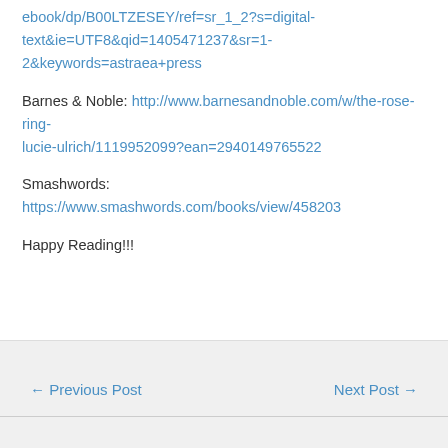ebook/dp/B00LTZESEY/ref=sr_1_2?s=digital-text&ie=UTF8&qid=1405471237&sr=1-2&keywords=astraea+press
Barnes & Noble: http://www.barnesandnoble.com/w/the-rose-ring-lucie-ulrich/1119952099?ean=2940149765522
Smashwords: https://www.smashwords.com/books/view/458203
Happy Reading!!!
← Previous Post    Next Post →